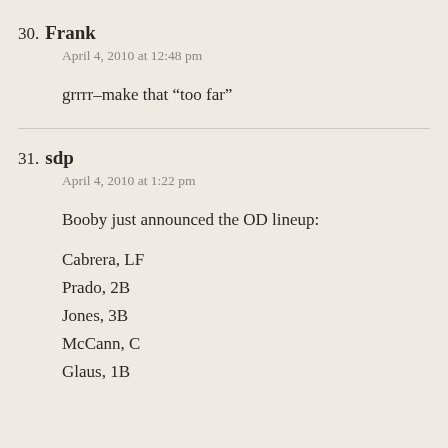30. Frank
April 4, 2010 at 12:48 pm
grrrr–make that “too far”
31. sdp
April 4, 2010 at 1:22 pm
Booby just announced the OD lineup:
Cabrera, LF
Prado, 2B
Jones, 3B
McCann, C
Glaus, 1B